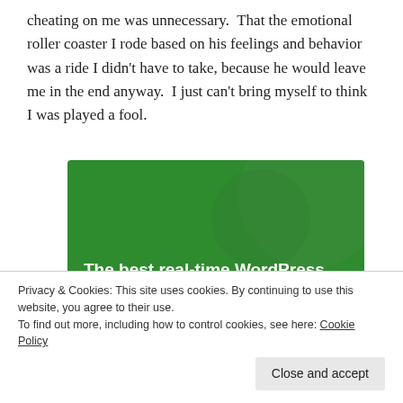cheating on me was unnecessary.  That the emotional roller coaster I rode based on his feelings and behavior was a ride I didn't have to take, because he would leave me in the end anyway.  I just can't bring myself to think I was played a fool.
[Figure (illustration): Green advertisement banner with circular decorative shapes and white bold text reading 'The best real-time WordPress backup plugin']
Privacy & Cookies: This site uses cookies. By continuing to use this website, you agree to their use.
To find out more, including how to control cookies, see here: Cookie Policy
Close and accept